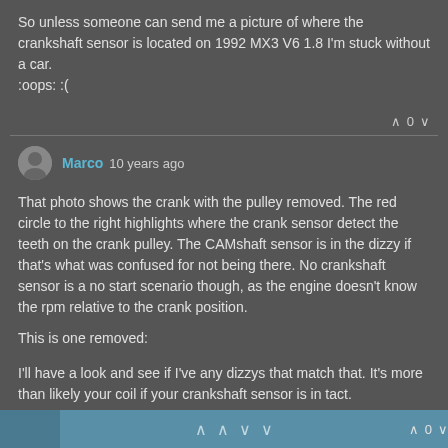So unless someone can send me a picture of where the crankshaft sensor is located on 1992 MX3 V6 1.8 I'm stuck without a car. :oops: :(
Marco 10 years ago
That photo shows the crank with the pulley removed. The red circle to the right highlights where the crank sensor detect the teeth on the crank pulley. The CAMshaft sensor is in the dizzy if that's what was confused for not being there. No crankshaft sensor is a no start scenario though, as the engine doesn't know the rpm relative to the crank position.
This is one removed:
I'll have a look and see if I've any dizzys that match that. It's more than likely your coil if your crankshaft sensor is in tact.